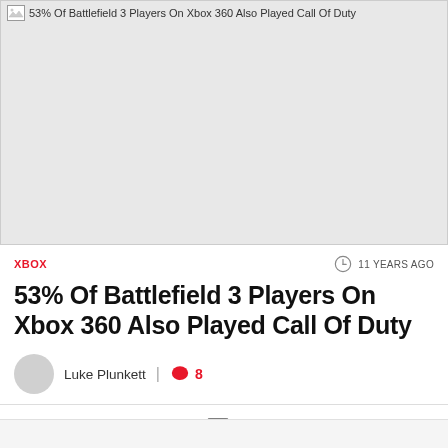[Figure (photo): Hero image placeholder (broken/loading image) with alt text '53% Of Battlefield 3 Players On Xbox 360 Also Played Call Of Duty', displayed as a light gray rectangle]
XBOX
11 YEARS AGO
53% Of Battlefield 3 Players On Xbox 360 Also Played Call Of Duty
Luke Plunkett  |  8
ADVERTISEMENT